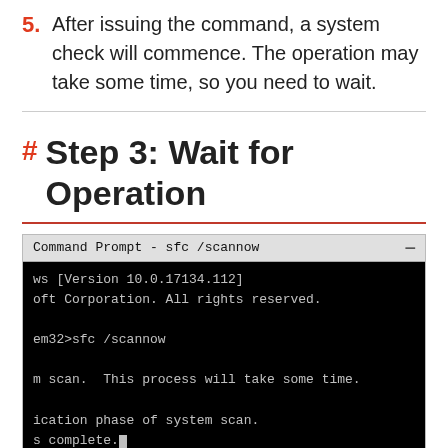5. After issuing the command, a system check will commence. The operation may take some time, so you need to wait.
Step 3: Wait for Operation
[Figure (screenshot): Command Prompt window showing sfc /scannow command running. Title bar reads 'Command Prompt - sfc /scannow'. Terminal output shows: 'ws [Version 10.0.17134.112]', 'oft Corporation. All rights reserved.', 'em32>sfc /scannow', 'm scan.  This process will take some time.', 'ication phase of system scan.', 's complete.' with a blinking cursor.]